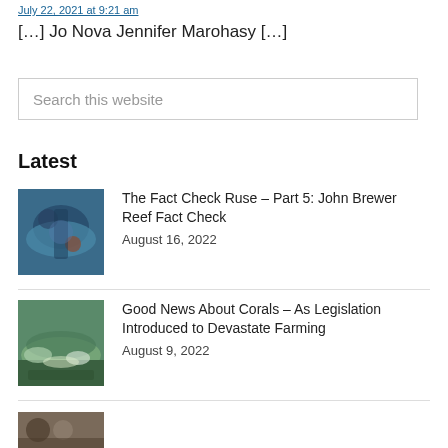July 22, 2021 at 9:21 am
[…] Jo Nova Jennifer Marohasy […]
Search this website
Latest
The Fact Check Ruse – Part 5: John Brewer Reef Fact Check
August 16, 2022
Good News About Corals – As Legislation Introduced to Devastate Farming
August 9, 2022